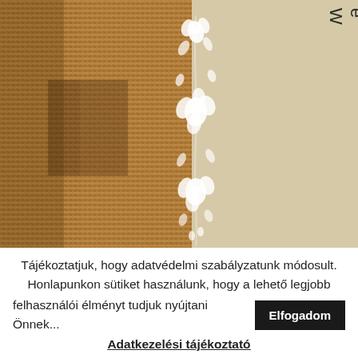[Figure (photo): Top section with burlap fabric texture on the left side and linen/beige background on the right, with a vertical white floral embroidery pattern in the center and vertical text reading 'Werdenbleiben' on the right side]
Tájékoztatjuk, hogy adatvédelmi szabályzatunk módosult. Honlapunkon sütiket használunk, hogy a lehető legjobb felhasználói élményt tudjuk nyújtani Önnek...
Elfogadom
Adatkezelési tájékoztató